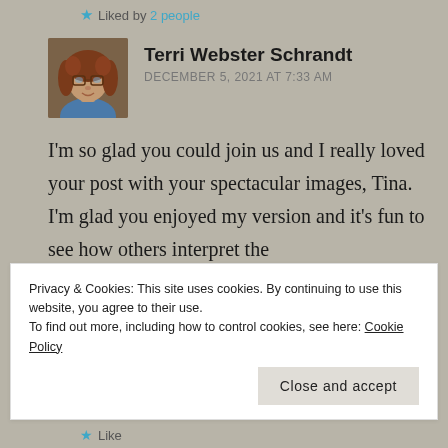Liked by 2 people
Terri Webster Schrandt
DECEMBER 5, 2021 AT 7:33 AM
[Figure (photo): Profile photo of Terri Webster Schrandt, a woman with curly reddish-brown hair and glasses, wearing a blue top]
I'm so glad you could join us and I really loved your post with your spectacular images, Tina. I'm glad you enjoyed my version and it's fun to see how others interpret the
Privacy & Cookies: This site uses cookies. By continuing to use this website, you agree to their use.
To find out more, including how to control cookies, see here: Cookie Policy
Close and accept
Like